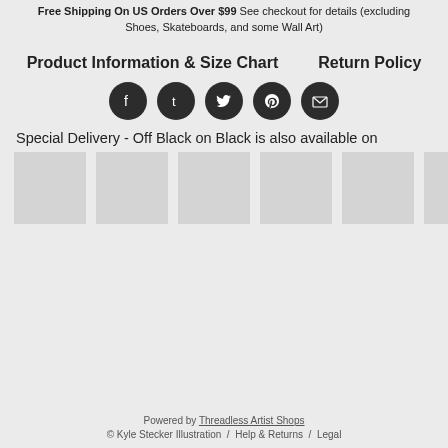Free Shipping On US Orders Over $99 See checkout for details (excluding Shoes, Skateboards, and some Wall Art)
Product Information & Size Chart
Return Policy
[Figure (other): Row of 5 social media icon buttons (Facebook, Tumblr, Twitter, Pinterest, Email) as dark circles with white icons]
Special Delivery - Off Black on Black is also available on
[Figure (other): Row of product thumbnail images, light gray placeholder boxes]
Powered by Threadless Artist Shops © Kyle Stecker Illustration / Help & Returns / Legal